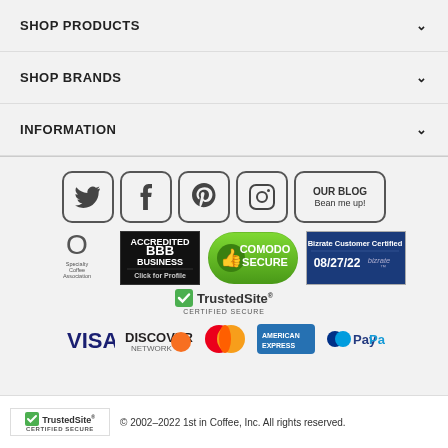SHOP PRODUCTS
SHOP BRANDS
INFORMATION
[Figure (infographic): Social media icons row: Twitter, Facebook, Pinterest, Instagram, and OUR BLOG / Bean me up! button]
[Figure (infographic): Trust badges row: Specialty Coffee Association, BBB Accredited Business Click for Profile, Comodo Secure, Bizrate Customer Certified 08/27/22]
[Figure (infographic): TrustedSite CERTIFIED SECURE badge]
[Figure (infographic): Payment logos: Visa, Discover, Mastercard, American Express, PayPal]
© 2002–2022 1st in Coffee, Inc. All rights reserved.